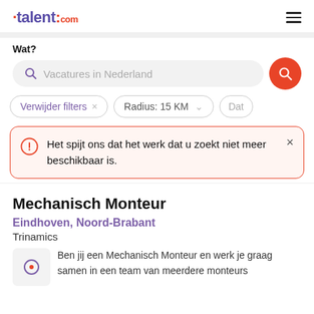[Figure (logo): talent.com logo with purple text and red dots]
Wat?
Vacatures in Nederland
Verwijder filters ×
Radius: 15 KM ∨
Dat
Het spijt ons dat het werk dat u zoekt niet meer beschikbaar is.
Mechanisch Monteur
Eindhoven, Noord-Brabant
Trinamics
Ben jij een Mechanisch Monteur en werk je graag samen in een team van meerdere monteurs